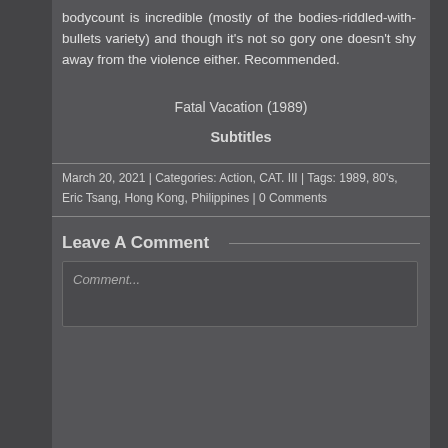bodycount is incredible (mostly of the bodies-riddled-with-bullets variety) and though it's not so gory one doesn't shy away from the violence either. Recommended.
Fatal Vacation (1989)
Subtitles
March 20, 2021 | Categories: Action, CAT. III | Tags: 1989, 80's, Eric Tsang, Hong Kong, Philippines | 0 Comments
Leave A Comment
Comment...